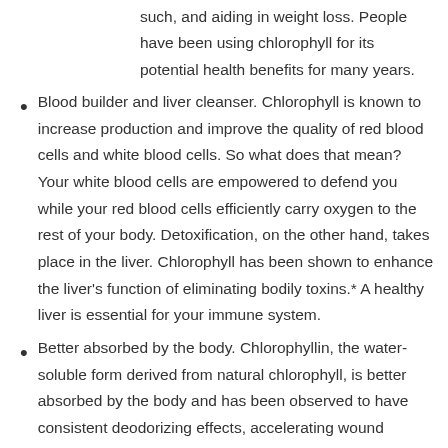such, and aiding in weight loss. People have been using chlorophyll for its potential health benefits for many years.
Blood builder and liver cleanser. Chlorophyll is known to increase production and improve the quality of red blood cells and white blood cells. So what does that mean? Your white blood cells are empowered to defend you while your red blood cells efficiently carry oxygen to the rest of your body. Detoxification, on the other hand, takes place in the liver. Chlorophyll has been shown to enhance the liver's function of eliminating bodily toxins.* A healthy liver is essential for your immune system.
Better absorbed by the body. Chlorophyllin, the water-soluble form derived from natural chlorophyll, is better absorbed by the body and has been observed to have consistent deodorizing effects, accelerating wound healing.
Common misspellings of Chlorophyll: chylorophyl, chrorophyll, clorophil, chloraphyll, cloriphyll, cholorphyll, cholorophyll, clorophyl, clorophyll